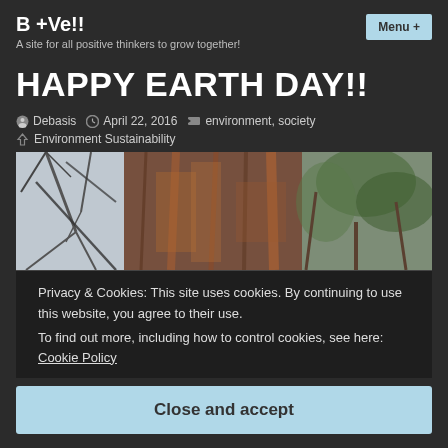B +Ve!! — A site for all positive thinkers to grow together!
HAPPY EARTH DAY!!
Debasis  April 22, 2016  environment, society  Environment Sustainability
[Figure (photo): Close-up photograph of tree bark with branches visible against a light sky]
Privacy & Cookies: This site uses cookies. By continuing to use this website, you agree to their use.
To find out more, including how to control cookies, see here: Cookie Policy
Close and accept